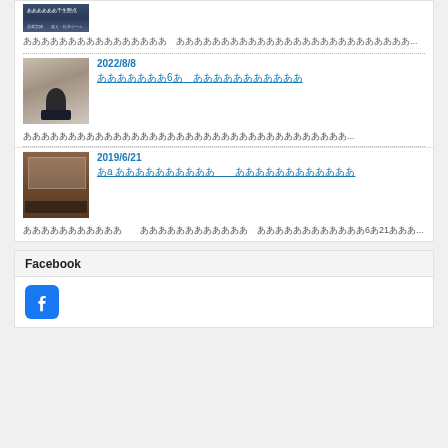[Figure (photo): Partial image of a Japanese government/event sign at top of page]
ああああああああああああああああ　ああああああああああああああああああああああああああ...
[Figure (photo): Photo of a woman smiling, wearing dark clothing and a lanyard]
2022/8/8
あああああああ6あ　あああああああああああ
ああああああああああああああああああああああああああああああああああああ...
[Figure (photo): Photo of a Japanese parliament/Diet session hall with people seated]
2019/6/21
あa ああああああああああ　　ああああああああああああ
あああああああああああ　　ああああああああああああ　ああああああああああああ6あ21あああ...
Facebook
[Figure (logo): Facebook logo icon - blue rounded square with white f]